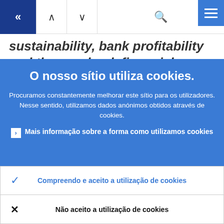[Figure (screenshot): Website navigation bar with back (<<), up arrow, down arrow, search icon buttons, and hamburger menu icon on blue background]
sustainability, bank profitability and the non-bank financial sector. It also sets out
O nosso sítio utiliza cookies.
Procuramos constantemente melhorar este sítio para os utilizadores. Nesse sentido, utilizamos dados anónimos obtidos através de cookies.
Mais informação sobre a forma como utilizamos cookies
Compreendo e aceito a utilização de cookies
Não aceito a utilização de cookies